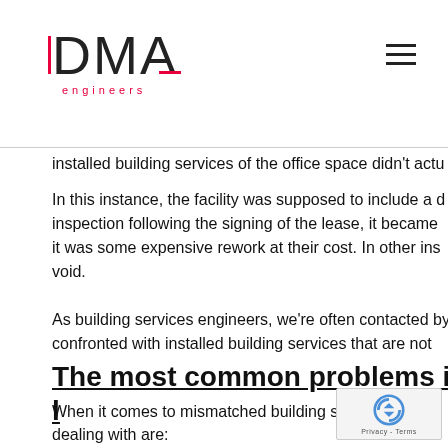DMA engineers
installed building services of the office space didn't actu
In this instance, the facility was supposed to include a d inspection following the signing of the lease, it became it was some expensive rework at their cost. In other ins void.
As building services engineers, we're often contacted by confronted with installed building services that are not
The most common problems in l
When it comes to mismatched building servic dealing with are: